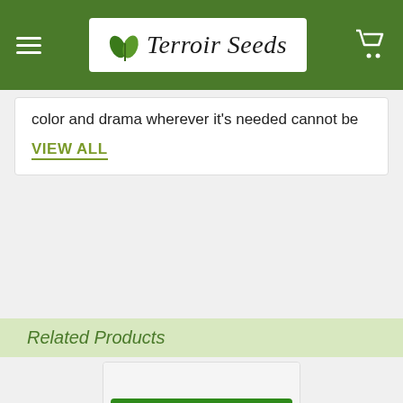Terroir Seeds
color and drama wherever it's needed cannot be
VIEW ALL
Related Products
[Figure (other): Product image placeholder (blank gray area)]
ADD TO CART